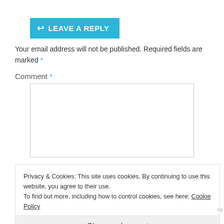↩ LEAVE A REPLY
Your email address will not be published. Required fields are marked *
Comment *
[Figure (screenshot): Empty comment text area input box with light border]
Privacy & Cookies: This site uses cookies. By continuing to use this website, you agree to their use. To find out more, including how to control cookies, see here: Cookie Policy
Close and accept